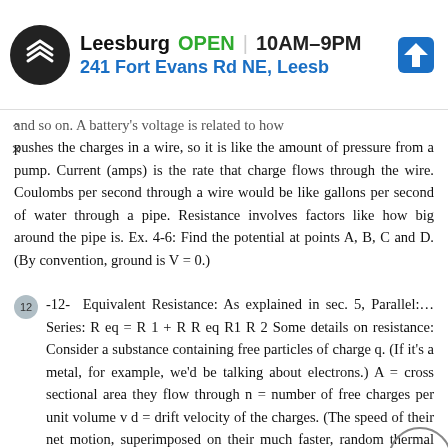[Figure (screenshot): Advertisement banner for a store in Leesburg showing OPEN status, hours 10AM-9PM, address 241 Fort Evans Rd NE, Leesb, with logo and navigation arrow icon]
and so on. A battery's voltage is related to how it pushes the charges in a wire, so it is like the amount of pressure from a pump. Current (amps) is the rate that charge flows through the wire. Coulombs per second through a wire would be like gallons per second of water through a pipe. Resistance involves factors like how big around the pipe is. Ex. 4-6: Find the potential at points A, B, C and D. (By convention, ground is V = 0.)
12 -12- Equivalent Resistance: As explained in sec. 5, Parallel:... Series: R eq = R 1 + R R eq R1 R 2 Some details on resistance: Consider a substance containing free particles of charge q. (If it's a metal, for example, we'd be talking about electrons.) A = cross sectional area they flow through n = number of free charges per unit volume v d = drift velocity of the charges. (The speed of their net motion, superimposed on their much faster, random thermal motion.) Definition of current density, J